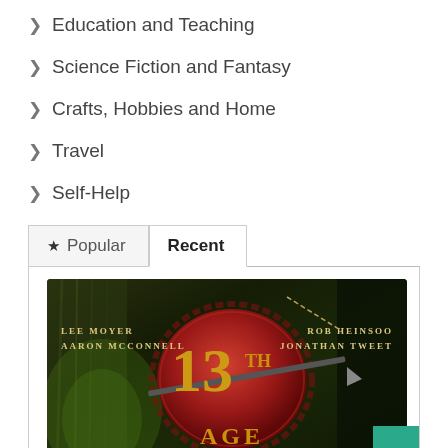> Education and Teaching
> Science Fiction and Fantasy
> Crafts, Hobbies and Home
> Travel
> Self-Help
[Figure (screenshot): Tab interface with Popular and Recent tabs, showing a book cover for '13th Age' by Lee Moyer, Aaron McConnell, Rob Heinsoo, Jonathan Tweet. The book cover features a red wax seal with the number 13 on a dark fantasy background.]